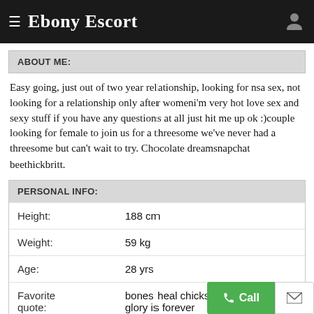Ebony Escort
ABOUT ME:
Easy going, just out of two year relationship, looking for nsa sex, not looking for a relationship only after womeni'm very hot love sex and sexy stuff if you have any questions at all just hit me up ok :)couple looking for female to join us for a threesome we've never had a threesome but can't wait to try. Chocolate dreamsnapchat beethickbritt.
PERSONAL INFO:
|  |  |
| --- | --- |
| Height: | 188 cm |
| Weight: | 59 kg |
| Age: | 28 yrs |
| Favorite quote: | bones heal chicks dig scars pain... glory is forever |